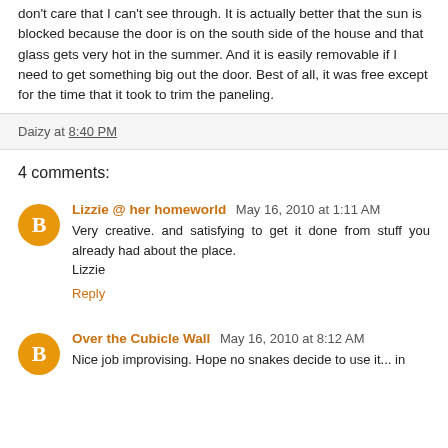don't care that I can't see through. It is actually better that the sun is blocked because the door is on the south side of the house and that glass gets very hot in the summer. And it is easily removable if I need to get something big out the door. Best of all, it was free except for the time that it took to trim the paneling.
Daizy at 8:40 PM
4 comments:
Lizzie @ her homeworld May 16, 2010 at 1:11 AM
Very creative. and satisfying to get it done from stuff you already had about the place.
Lizzie
Reply
Over the Cubicle Wall May 16, 2010 at 8:12 AM
Nice job improvising. Hope no snakes decide to use it... in